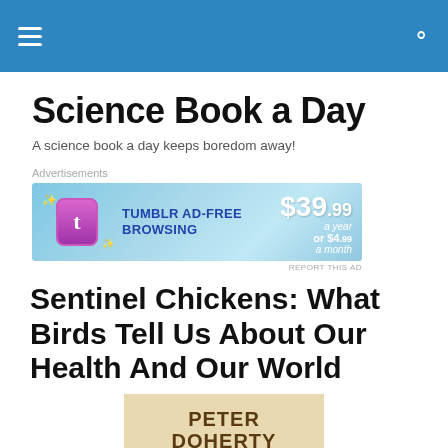Science Book a Day
A science book a day keeps boredom away!
[Figure (other): Tumblr Ad-Free Browsing advertisement banner: $39.99 a year or $4.99 a month]
Sentinel Chickens: What Birds Tell Us About Our Health And Our World
[Figure (photo): Partial book cover showing 'PETER DOHERTY' text on a cream/tan background]